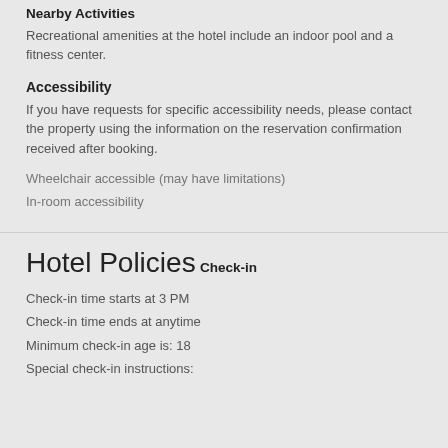Nearby Activities
Recreational amenities at the hotel include an indoor pool and a fitness center.
Accessibility
If you have requests for specific accessibility needs, please contact the property using the information on the reservation confirmation received after booking.
Wheelchair accessible (may have limitations)
In-room accessibility
Hotel Policies
Check-in
Check-in time starts at 3 PM
Check-in time ends at anytime
Minimum check-in age is: 18
Special check-in instructions: